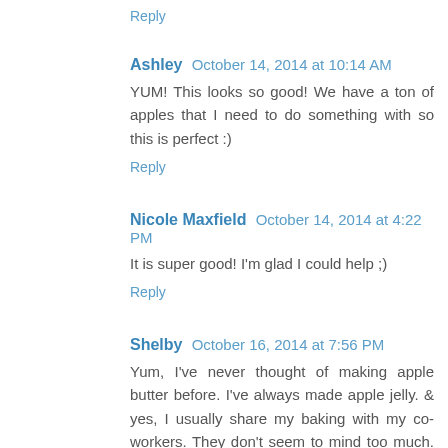Reply
Ashley  October 14, 2014 at 10:14 AM
YUM! This looks so good! We have a ton of apples that I need to do something with so this is perfect :)
Reply
Nicole Maxfield  October 14, 2014 at 4:22 PM
It is super good! I'm glad I could help ;)
Reply
Shelby  October 16, 2014 at 7:56 PM
Yum, I've never thought of making apple butter before. I've always made apple jelly. & yes, I usually share my baking with my co-workers. They don't seem to mind too much. Haha.
Reply